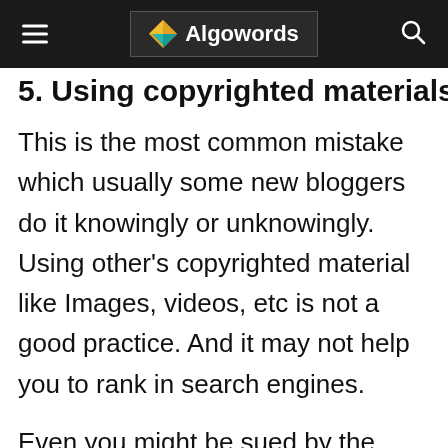Algowords
5. Using copyrighted materials
This is the most common mistake which usually some new bloggers do it knowingly or unknowingly. Using other's copyrighted material like Images, videos, etc is not a good practice. And it may not help you to rank in search engines.
Even you might be sued by the owner for using copyrighted materials on your blog or site. Google prefers content that is unique and original.